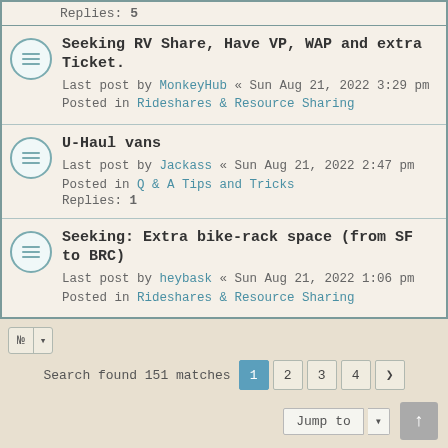Replies: 5
Seeking RV Share, Have VP, WAP and extra Ticket.
Last post by MonkeyHub « Sun Aug 21, 2022 3:29 pm
Posted in Rideshares & Resource Sharing
U-Haul vans
Last post by Jackass « Sun Aug 21, 2022 2:47 pm
Posted in Q & A Tips and Tricks
Replies: 1
Seeking: Extra bike-rack space (from SF to BRC)
Last post by heybask « Sun Aug 21, 2022 1:06 pm
Posted in Rideshares & Resource Sharing
Search found 151 matches
BOARD INDEX   ALL TIMES ARE UTC-07:00